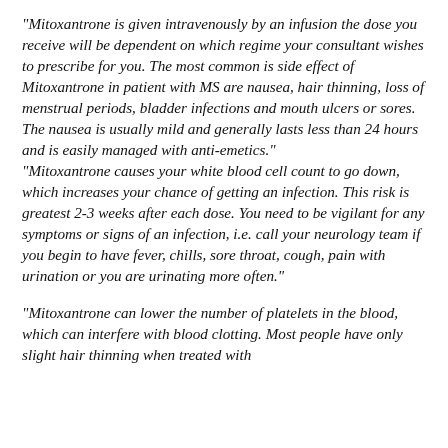"Mitoxantrone is given intravenously by an infusion the dose you receive will be dependent on which regime your consultant wishes to prescribe for you. The most common is side effect of Mitoxantrone in patient with MS are nausea, hair thinning, loss of menstrual periods, bladder infections and mouth ulcers or sores. The nausea is usually mild and generally lasts less than 24 hours and is easily managed with anti-emetics."
"Mitoxantrone causes your white blood cell count to go down, which increases your chance of getting an infection. This risk is greatest 2-3 weeks after each dose. You need to be vigilant for any symptoms or signs of an infection, i.e. call your neurology team if you begin to have fever, chills, sore throat, cough, pain with urination or you are urinating more often."
"Mitoxantrone can lower the number of platelets in the blood, which can interfere with blood clotting. Most people have only slight hair thinning when treated with